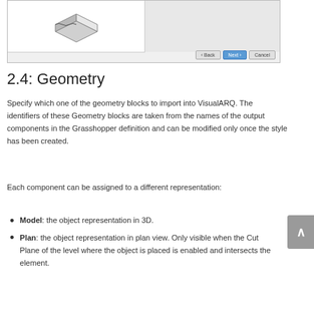[Figure (screenshot): A software dialog screenshot showing a 3D component isometric view on the left panel and navigation buttons (Back, Next, Cancel) at the bottom right.]
2.4: Geometry
Specify which one of the geometry blocks to import into VisualARQ. The identifiers of these Geometry blocks are taken from the names of the output components in the Grasshopper definition and can be modified only once the style has been created.
Each component can be assigned to a different representation:
Model: the object representation in 3D.
Plan: the object representation in plan view. Only visible when the Cut Plane of the level where the object is placed is enabled and intersects the element.